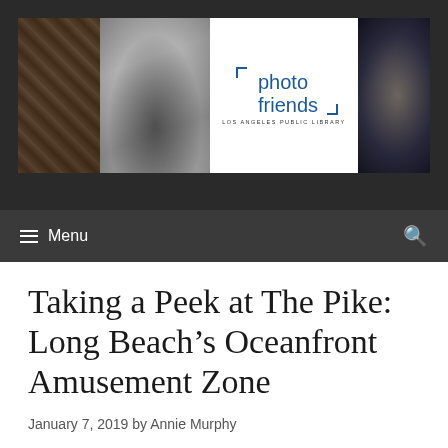[Figure (photo): Photo Friends Los Angeles Public Library header banner with four black and white historical photographs and the Photo Friends logo in the center]
≡ Menu
Taking a Peek at The Pike: Long Beach's Oceanfront Amusement Zone
January 7, 2019 by Annie Murphy
William Willmore had a brilliant idea. He was going to